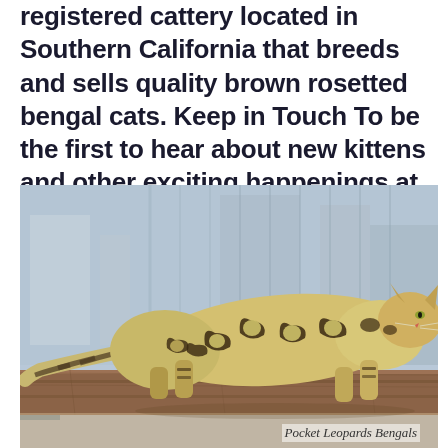registered cattery located in Southern California that breeds and sells quality brown rosetted bengal cats. Keep in Touch To be the first to hear about new kittens and other exciting happenings at WB, add your email address to our list!
[Figure (photo): A Bengal cat with brown rosette markings walking along a wooden plank or beam, with a blurred urban/industrial background. The cat has distinctive leopard-like spotted coat patterns.]
Pocket Leopards Bengals